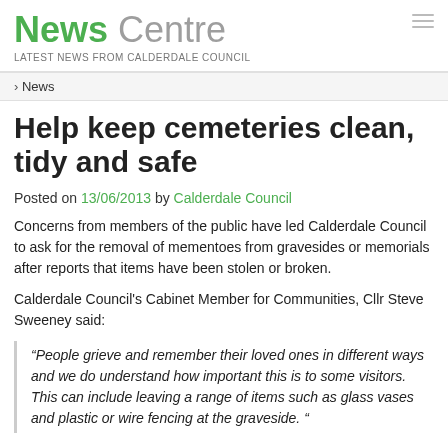News Centre — LATEST NEWS FROM CALDERDALE COUNCIL
News
Help keep cemeteries clean, tidy and safe
Posted on 13/06/2013 by Calderdale Council
Concerns from members of the public have led Calderdale Council to ask for the removal of mementoes from gravesides or memorials after reports that items have been stolen or broken.
Calderdale Council's Cabinet Member for Communities, Cllr Steve Sweeney said:
“People grieve and remember their loved ones in different ways and we do understand how important this is to some visitors. This can include leaving a range of items such as glass vases and plastic or wire fencing at the graveside. “